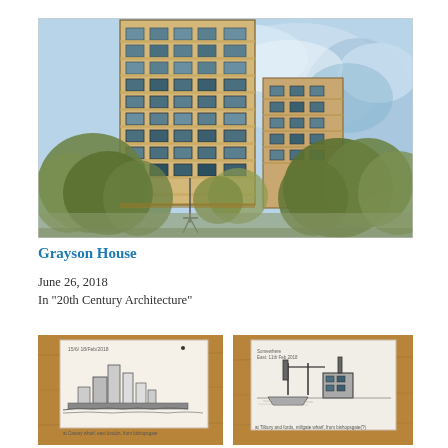[Figure (illustration): Watercolour and ink illustration of Grayson House, a tall modernist residential tower block with beige/tan facade and grid of windows, set against a blue sky with white clouds, with green trees in the foreground and a construction crane visible]
Grayson House
June 26, 2018
In "20th Century Architecture"
[Figure (illustration): Small sketch drawing of a city skyline with a tower block, buildings, and foreground clutter, on a wooden table surface, with handwritten caption below]
[Figure (illustration): Small sketch drawing of an industrial waterfront scene with cranes and buildings, on paper on a wooden table surface, with handwritten caption below]